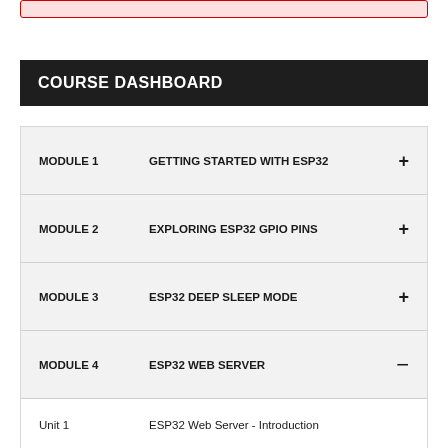COURSE DASHBOARD
MODULE 1 — GETTING STARTED WITH ESP32
MODULE 2 — EXPLORING ESP32 GPIO PINS
MODULE 3 — ESP32 DEEP SLEEP MODE
MODULE 4 — ESP32 WEB SERVER
Unit 1 — ESP32 Web Server - Introduction
Unit 2 — ESP32 Web Server - Control Outputs